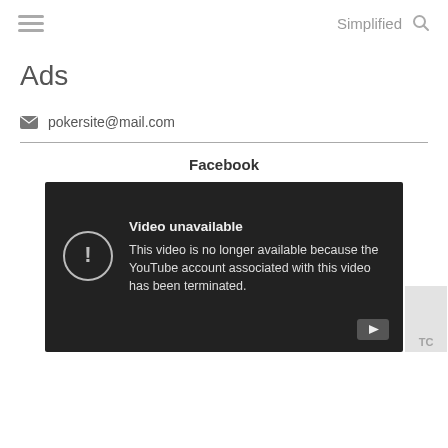Simplified
Ads
pokersite@mail.com
Facebook
[Figure (screenshot): A dark video player showing 'Video unavailable' message: 'This video is no longer available because the YouTube account associated with this video has been terminated.' with an exclamation mark in a circle and a YouTube play button icon.]